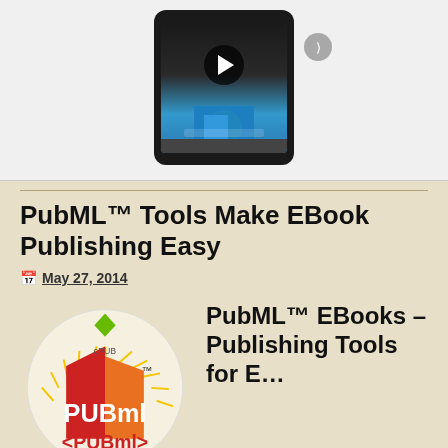[Figure (screenshot): Video player showing a tablet device with a play button and book cover, with a next arrow button to the right]
PubML™ Tools Make EBook Publishing Easy
May 27, 2014
[Figure (logo): PubML circular logo with ePUB symbol, colorful book icon, and PubML text with angle brackets]
PubML™ EBooks – Publishing Tools for E...